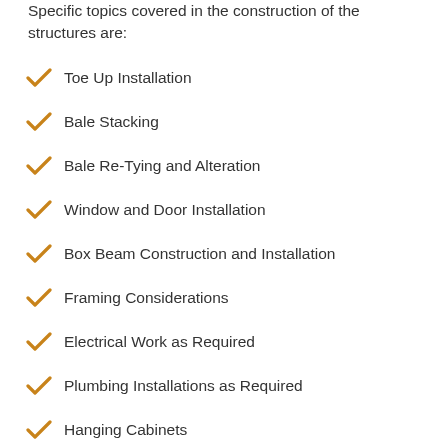Specific topics covered in the construction of the structures are:
Toe Up Installation
Bale Stacking
Bale Re-Tying and Alteration
Window and Door Installation
Box Beam Construction and Installation
Framing Considerations
Electrical Work as Required
Plumbing Installations as Required
Hanging Cabinets